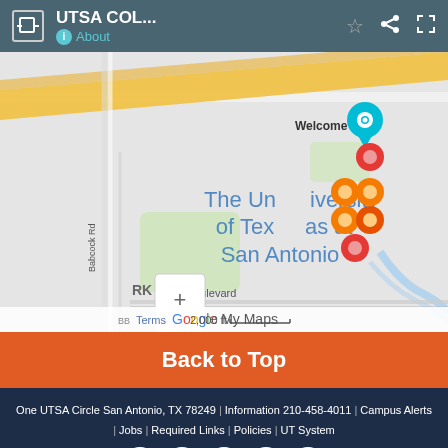[Figure (screenshot): Google My Maps screenshot showing UTSA campus area with orange and red location markers near 'Welcome Ctr' pin, zoom controls, and map label 'The University of Texas at San Antonio']
Back to Top
One UTSA Circle San Antonio, TX 78249 | Information 210-458-4011 | Campus Alerts | Jobs | Required Links | Policies | UT System